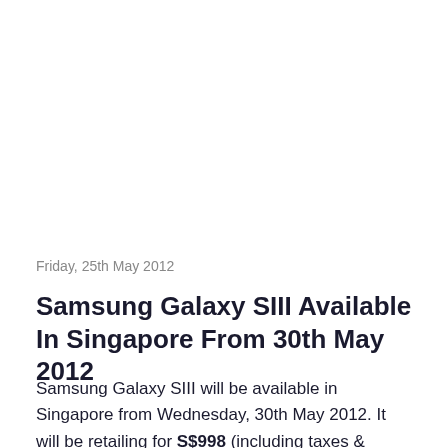Friday, 25th May 2012
Samsung Galaxy SIII Available In Singapore From 30th May 2012
Samsung Galaxy SIII will be available in Singapore from Wednesday, 30th May 2012. It will be retailing for S$998 (including taxes & without contract) at all 3 operators (SingTel, M1, StarHub) in Singapore.